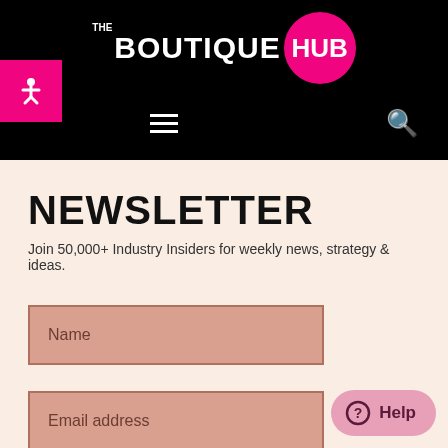[Figure (logo): The Boutique Hub logo — white text 'THE BOUTIQUE' with 'HUB' inside a magenta/pink circle, on black background]
NEWSLETTER
Join 50,000+ Industry Insiders for weekly news, strategy & ideas.
Name (form input field placeholder)
Email address (form input field placeholder)